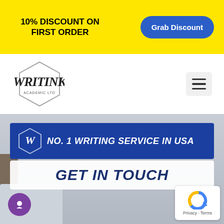10% DISCOUNT ON FIRST ORDER
Grab Discount
[Figure (logo): WRITINK logo — hexagon shape with stylized W and text]
[Figure (infographic): Hamburger menu icon — three horizontal lines]
[Figure (infographic): Blue banner with WRITINK W logo and text: NO. 1 WRITING SERVICE IN USA]
GET IN TOUCH
[Figure (infographic): Purple circular chat button with person icon]
[Figure (infographic): reCAPTCHA badge showing Privacy - Terms]